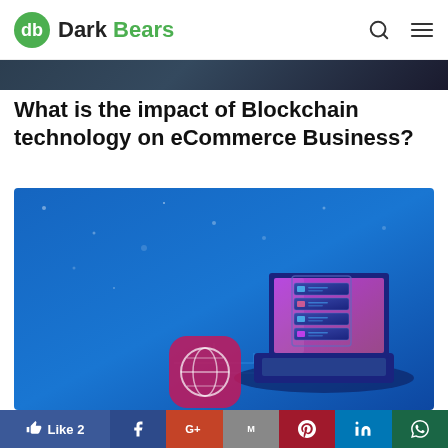Dark Bears
[Figure (photo): Cropped top portion of an image showing a dark background (appears to be a person or tech scene, partially visible)]
What is the impact of Blockchain technology on eCommerce Business?
[Figure (illustration): Digital illustration on a blue gradient background showing a server rack, laptop, and a rounded square device with a bitcoin/globe symbol, connected by circuit lines — representing blockchain technology in ecommerce]
[Figure (infographic): Social share bar with Like 2 (Facebook blue), Facebook, Google+, Gmail, Pinterest, LinkedIn, WhatsApp buttons]